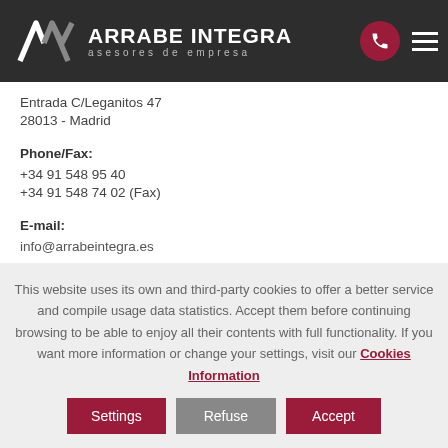ARRABE INTEGRA asesores de empresa
Entrada C/Leganitos 47
28013 - Madrid
Phone/Fax:
+34 91 548 95 40
+34 91 548 74 02 (Fax)
E-mail:
info@arrabeintegra.es
This website uses its own and third-party cookies to offer a better service and compile usage data statistics. Accept them before continuing browsing to be able to enjoy all their contents with full functionality. If you want more information or change your settings, visit our Cookies Information